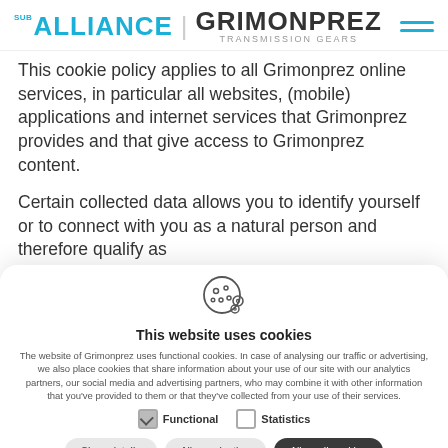SUB ALLIANCE | GRIMONPREZ TRANSMISSION GEARS
This cookie policy applies to all Grimonprez online services, in particular all websites, (mobile) applications and internet services that Grimonprez provides and that give access to Grimonprez content.
Certain collected data allows you to identify yourself or to connect with you as a natural person and therefore qualify as
[Figure (illustration): Cookie icon - circular cookie with chocolate chips]
This website uses cookies
The website of Grimonprez uses functional cookies. In case of analysing our traffic or advertising, we also place cookies that share information about your use of our site with our analytics partners, our social media and advertising partners, who may combine it with other information that you've provided to them or that they've collected from your use of their services.
Functional   Statistics
Show details   Allow selection   Allow all cookies